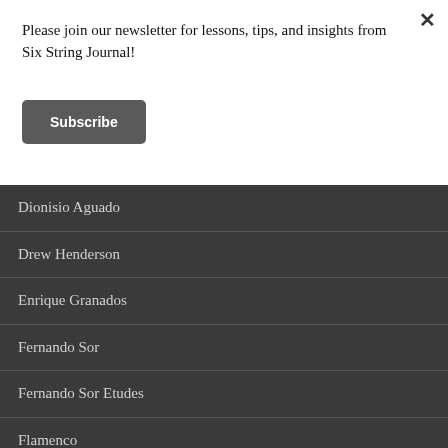Please join our newsletter for lessons, tips, and insights from Six String Journal!
Subscribe
Dionisio Aguado
Drew Henderson
Enrique Granados
Fernando Sor
Fernando Sor Etudes
Flamenco
Francisco Tárrega
Gohar Vardanyan